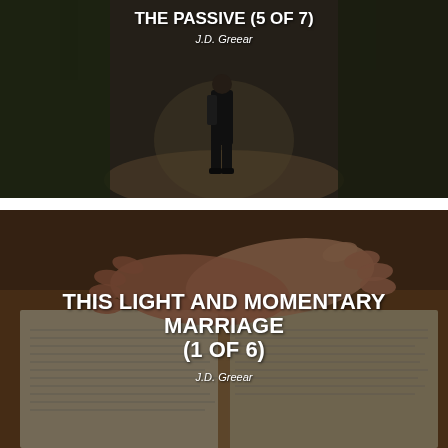[Figure (photo): Photo of a person with a backpack standing on a dirt path in a forest, viewed from behind. Dark overlay. Title text overlay: 'THE PASSIVE (5 OF 7)' and author 'J.D. Greear'.]
[Figure (photo): Photo of two hands clasped together resting on an open Bible. Dark overlay. Title text overlay: 'THIS LIGHT AND MOMENTARY MARRIAGE (1 OF 6)' and author 'J.D. Greear'.]